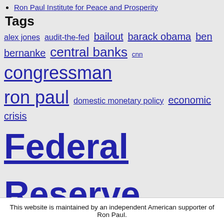Ron Paul Institute for Peace and Prosperity
Tags
alex jones audit-the-fed bailout barack obama ben bernanke central banks cnn congressman ron paul domestic monetary policy economic crisis Federal Reserve federal reserve system fiat money financial collapse financial services committee foreclosure foreign policy freedom gold goldman sachs housing bubble inflation liberty mainstream media media bias military industrial complex mitt romney monetary policy monetary system money national debt news media newt gingrich Obamacare patriot act Rand Paul recession robert kiyosaki ron paul Social Security sound money Taxes tsa u s treasury wall street
©2022 - Ron Paul Revolution
This website is maintained by an independent American supporter of Ron Paul.